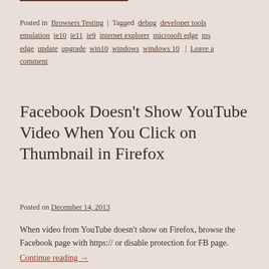Posted in Browsers Testing | Tagged debug, developer tools, emulation, ie10, ie11, ie9, internet explorer, microsoft edge, ms edge, update, upgrade, win10, windows, windows 10 | Leave a comment
Facebook Doesn't Show YouTube Video When You Click on Thumbnail in Firefox
Posted on December 14, 2013
When video from YouTube doesn't show on Firefox, browse the Facebook page with https:// or disable protection for FB page.
Continue reading →